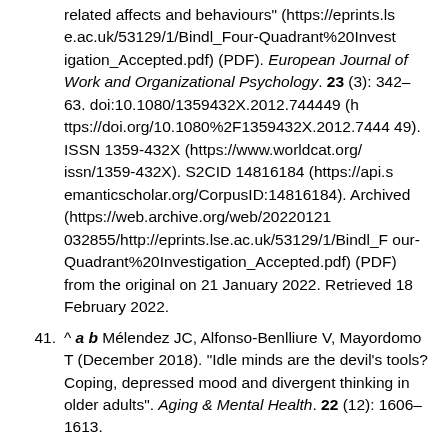related affects and behaviours" (https://eprints.lse.ac.uk/53129/1/Bindl_Four-Quadrant%20Investigation_Accepted.pdf) (PDF). European Journal of Work and Organizational Psychology. 23 (3): 342–63. doi:10.1080/1359432X.2012.744449 (https://doi.org/10.1080%2F1359432X.2012.744449). ISSN 1359-432X (https://www.worldcat.org/issn/1359-432X). S2CID 14816184 (https://api.semanticscholar.org/CorpusID:14816184). Archived (https://web.archive.org/web/20220121032855/http://eprints.lse.ac.uk/53129/1/Bindl_Four-Quadrant%20Investigation_Accepted.pdf) (PDF) from the original on 21 January 2022. Retrieved 18 February 2022.
^ a b Mélendez JC, Alfonso-Benlliure V, Mayordomo T (December 2018). "Idle minds are the devil's tools? Coping, depressed mood and divergent thinking in older adults". Aging & Mental Health. 22 (12): 1606–1613.